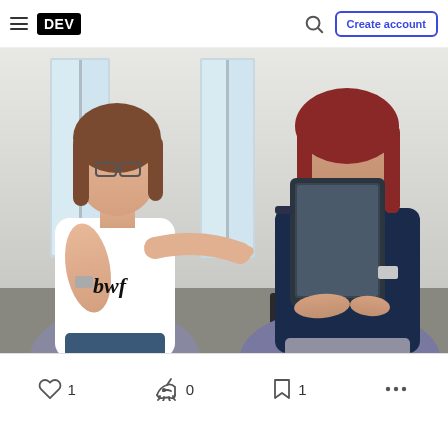DEV — Create account
[Figure (photo): Two women in an office setting; one in a white t-shirt with arms crossed and glasses, pointing at a tablet held by the second woman in a dark navy shirt]
1  0  1